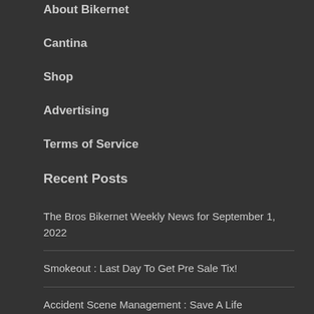About Bikernet
Cantina
Shop
Advertising
Terms of Service
Recent Posts
The Bros Bikernet Weekly News for September 1, 2022
Smokeout : Last Day To Get Pre Sale Tix!
Accident Scene Management : Save A Life